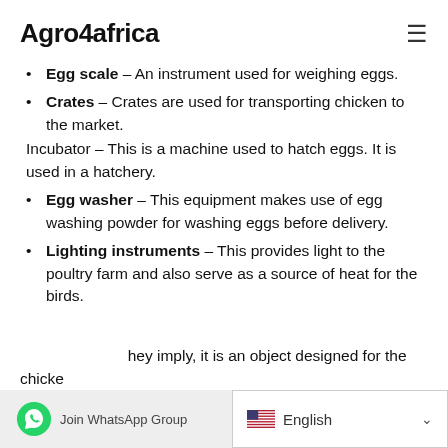Agro4africa
Egg scale – An instrument used for weighing eggs.
Crates – Crates are used for transporting chicken to the market.
Incubator – This is a machine used to hatch eggs. It is used in a hatchery.
Egg washer – This equipment makes use of egg washing powder for washing eggs before delivery.
Lighting instruments – This provides light to the poultry farm and also serve as a source of heat for the birds.
...hey imply, it is an object designed for the chicke...